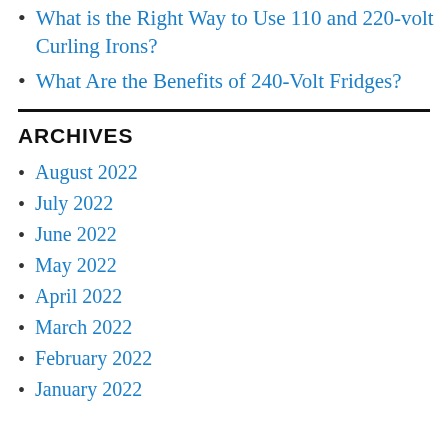What is the Right Way to Use 110 and 220-volt Curling Irons?
What Are the Benefits of 240-Volt Fridges?
ARCHIVES
August 2022
July 2022
June 2022
May 2022
April 2022
March 2022
February 2022
January 2022